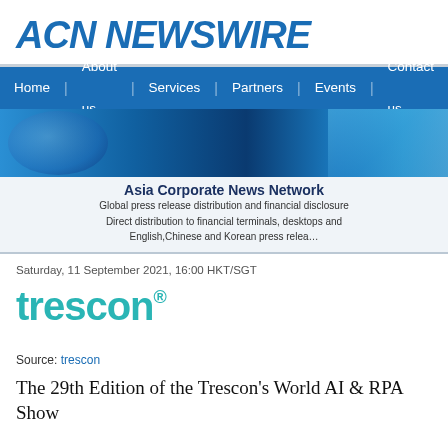ACN NEWSWIRE
[Figure (screenshot): ACN Newswire website navigation bar with links: Home, About us, Services, Partners, Events, Contact us, Login on a blue background]
[Figure (infographic): Banner image with blue world/city imagery and text: Asia Corporate News Network. Global press release distribution and financial disclosure. Direct distribution to financial terminals, desktops and... English, Chinese and Korean press relea...]
Saturday, 11 September 2021, 16:00 HKT/SGT
[Figure (logo): trescon logo in teal/cyan color with registered trademark symbol]
Source: trescon
The 29th Edition of the Trescon's World AI & RPA Show